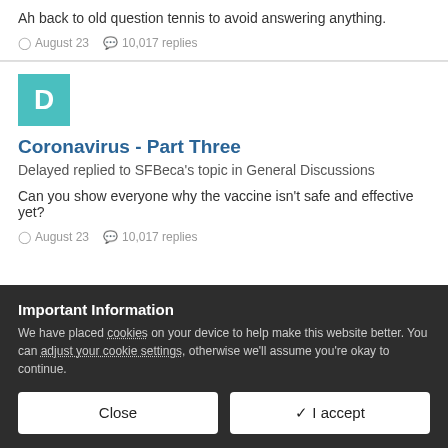Ah back to old question tennis to avoid answering anything.
August 23   10,017 replies
[Figure (other): Teal avatar square with letter D]
Coronavirus - Part Three
Delayed replied to SFBeca's topic in General Discussions
Can you show everyone why the vaccine isn't safe and effective yet?
August 23   10,017 replies
Important Information
We have placed cookies on your device to help make this website better. You can adjust your cookie settings, otherwise we'll assume you're okay to continue.